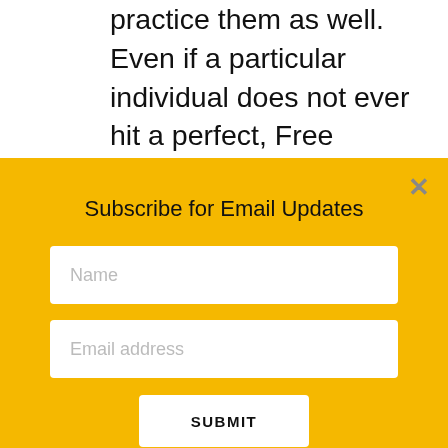practice them as well. Even if a particular individual does not ever hit a perfect, Free Standing Handstand, SO WHAT? They are getting stronger and better conditioned throughout the process. Additionally, their pressing will get better, they will get stronger and their shoulders will be healthier. Plus, you never know; keep plugging away long enough and almost ANYTHING is possible. Please read
Subscribe for Email Updates
Name
Email address
SUBMIT